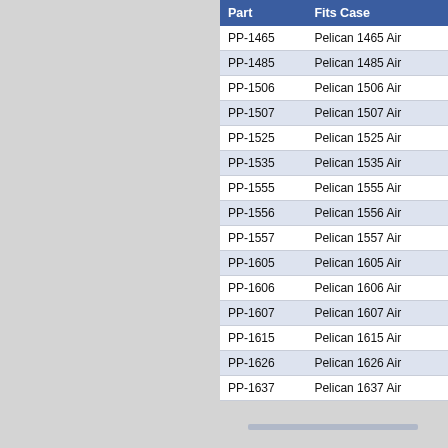| Part | Fits Case |
| --- | --- |
| PP-1465 | Pelican 1465 Air |
| PP-1485 | Pelican 1485 Air |
| PP-1506 | Pelican 1506 Air |
| PP-1507 | Pelican 1507 Air |
| PP-1525 | Pelican 1525 Air |
| PP-1535 | Pelican 1535 Air |
| PP-1555 | Pelican 1555 Air |
| PP-1556 | Pelican 1556 Air |
| PP-1557 | Pelican 1557 Air |
| PP-1605 | Pelican 1605 Air |
| PP-1606 | Pelican 1606 Air |
| PP-1607 | Pelican 1607 Air |
| PP-1615 | Pelican 1615 Air |
| PP-1626 | Pelican 1626 Air |
| PP-1637 | Pelican 1637 Air |